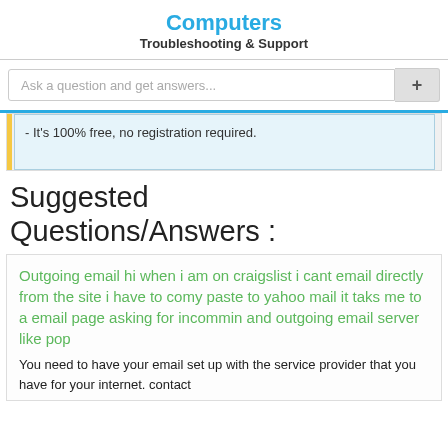Computers
Troubleshooting & Support
Ask a question and get answers...
- It's 100% free, no registration required.
Suggested Questions/Answers :
Outgoing email hi when i am on craigslist i cant email directly from the site i have to comy paste to yahoo mail it taks me to a email page asking for incommin and outgoing email server like pop
You need to have your email set up with the service provider that you have for your internet. contact